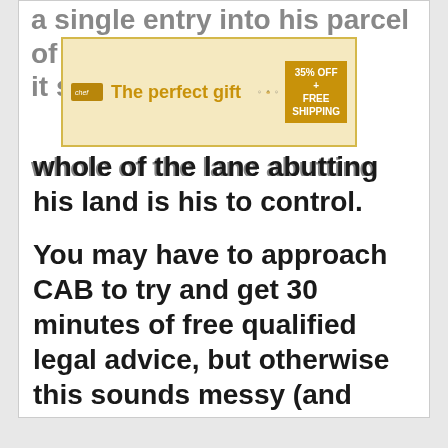a single entry into his parcel of land – it so... whole of the lane abutting his land is his to control.
[Figure (other): Advertisement banner: 'The perfect gift' with product image and '35% OFF + FREE SHIPPING' badge]
You may have to approach CAB to try and get 30 minutes of free qualified legal advice, but otherwise this sounds messy (and potentially expensive legally) to resolve if you cannot do it amicably with simple local agreements.
08:48 Wed 14th May 2008